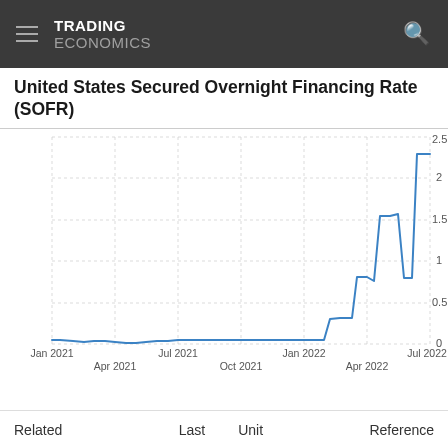TRADING ECONOMICS
United States Secured Overnight Financing Rate (SOFR)
[Figure (continuous-plot): Line chart showing US SOFR rate from Jan 2021 to Jul 2022. Rate stays near 0 from Jan 2021 through early 2022, then rises steeply from ~0.3 in Apr 2022 to ~0.75 in May 2022, then to ~1.55 in Jun 2022, briefly dips to ~0.8, then rises sharply to ~2.3 by Jul 2022.]
| Related | Last | Unit | Reference |
| --- | --- | --- | --- |